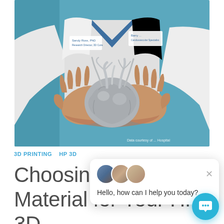[Figure (photo): A doctor or medical professional in a white lab coat holding a 3D printed model of a human heart with both hands. The background shows a teal/blue color. The photo has a watermark text 'Data courtesy of ... Hospital' at the bottom right.]
3D PRINTING   HP 3D
Choosing the Material for Your HP 3D Printer
[Figure (screenshot): A chat widget popup overlay showing three small avatar photos of support agents and the text 'Hello, how can I help you today?' with an X close button, and a round teal chat button icon at the bottom right corner.]